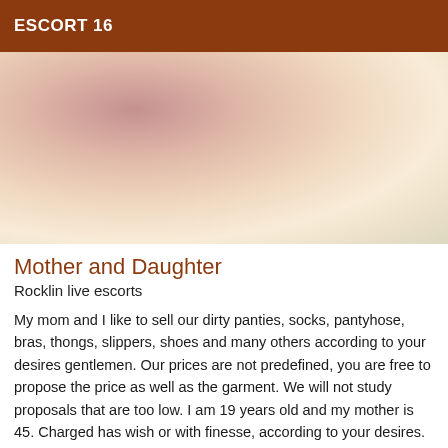ESCORT 16
[Figure (photo): Close-up photo with warm pinkish and cream tones, abstract body detail]
Mother and Daughter
Rocklin live escorts
My mom and I like to sell our dirty panties, socks, pantyhose, bras, thongs, slippers, shoes and many others according to your desires gentlemen. Our prices are not predefined, you are free to propose the price as well as the garment. We will not study proposals that are too low. I am 19 years old and my mother is 45. Charged has wish or with finesse, according to your desires.